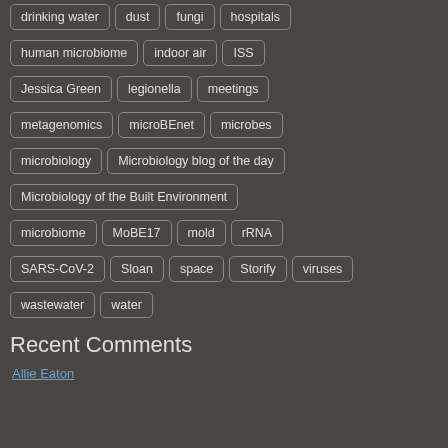drinking water
dust
fungi
hospitals
human microbiome
indoor air
ISS
Jessica Green
legionella
meetings
metagenomics
microBEnet
microbes
microbiology
Microbiology blog of the day
Microbiology of the Built Environment
microbiome
MoBE17
mold
rRNA
SARS-CoV-2
Sloan
space
Storify
viruses
wastewater
water
Recent Comments
Allie Eaton